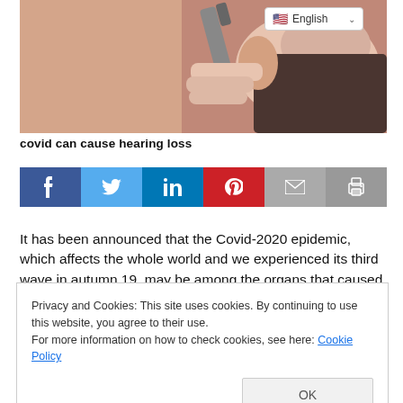[Figure (photo): Close-up of a medical professional using an otoscope to examine a patient's ear]
covid can cause hearing loss
[Figure (infographic): Social media share bar with Facebook, Twitter, LinkedIn, Pinterest, Email, and Print buttons]
It has been announced that the Covid-2020 epidemic, which affects the whole world and we experienced its third wave in autumn 19, may be among the organs that caused damage in
Privacy and Cookies: This site uses cookies. By continuing to use this website, you agree to their use.
For more information on how to check cookies, see here: Cookie Policy